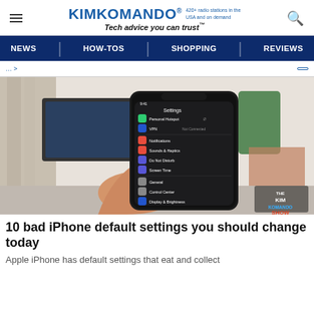KIMKOMANDO® 420+ radio stations in the USA and on demand — Tech advice you can trust™
[Figure (screenshot): KimKomando website navigation bar with NEWS, HOW-TOS, SHOPPING, REVIEWS menu items on dark blue background]
[Figure (photo): Hand holding an iPhone displaying iOS Settings screen with options like Personal Hotspot, VPN, Notifications, Sounds & Haptics, Do Not Disturb, Screen Time, General, Control Center, Display & Brightness, Accessibility, Wallpaper, with THE KIM KOMANDO SHOW watermark]
10 bad iPhone default settings you should change today
Apple iPhone has default settings that eat and collect